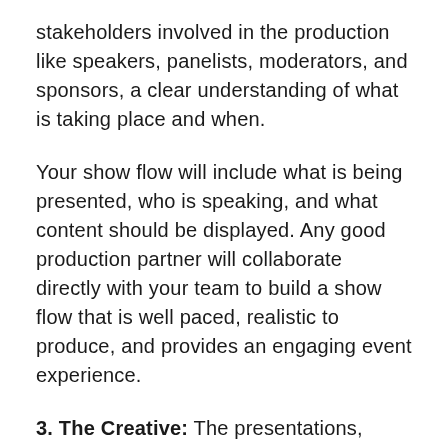stakeholders involved in the production like speakers, panelists, moderators, and sponsors, a clear understanding of what is taking place and when.
Your show flow will include what is being presented, who is speaking, and what content should be displayed. Any good production partner will collaborate directly with your team to build a show flow that is well paced, realistic to produce, and provides an engaging event experience.
3. The Creative: The presentations, graphics, videos, and interactive experiences your organization is planning to deliver to your virtual audience.